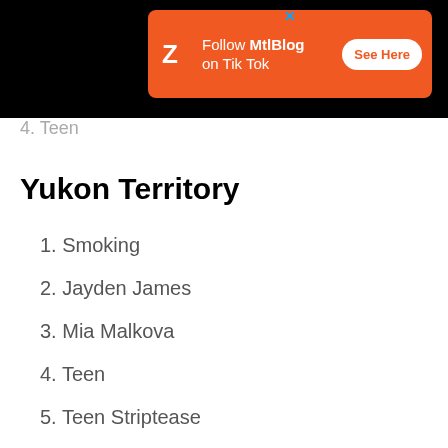[Figure (screenshot): Advertisement banner: Follow MtlBlog on Tik Tok with See Here button]
4. Teen
Yukon Territory
1. Smoking
2. Jayden James
3. Mia Malkova
4. Teen
5. Teen Striptease